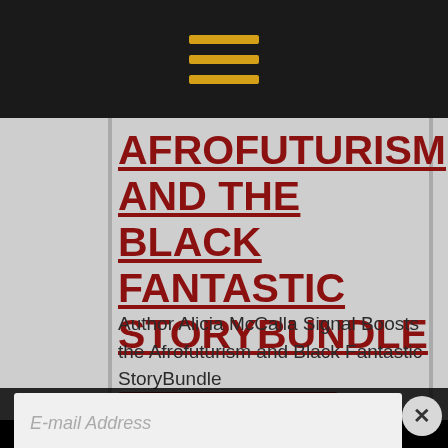[Figure (screenshot): Dark navigation bar with hamburger menu icon (three golden/yellow horizontal lines) centered at top]
AFROFUTURISM AND THE BLACK FANTASTIC STORYBUNDLE
Author Alicia McCalla Signal Boosts the Afrofuturism and Black Fantastic StoryBundle
[Figure (screenshot): Dark red rectangular button (read more / call to action)]
E-mail Address
Join my Heroes League!
By continuing, you accept the privacy policy. I never send spam, and will not share your email address with anyone.